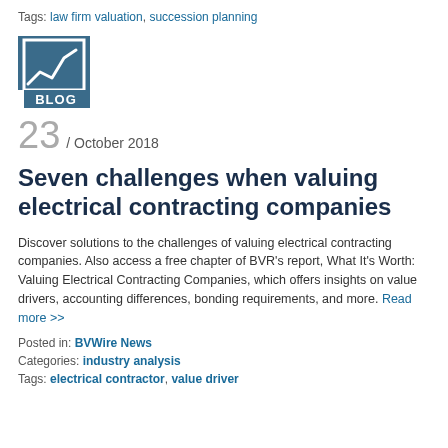Tags: law firm valuation, succession planning
[Figure (logo): BVR Blog logo — dark teal square icon with a line/checkmark chart graphic and 'BLOG' text at bottom]
23 / October 2018
Seven challenges when valuing electrical contracting companies
Discover solutions to the challenges of valuing electrical contracting companies. Also access a free chapter of BVR's report, What It's Worth: Valuing Electrical Contracting Companies, which offers insights on value drivers, accounting differences, bonding requirements, and more. Read more >>
Posted in: BVWire News
Categories: industry analysis
Tags: electrical contractor, value driver